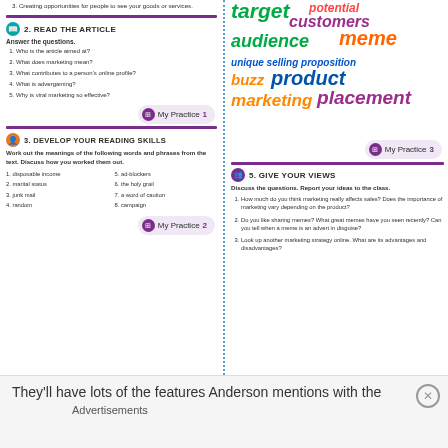3. Creating opportunities for people to see your goods or services.
2. READ THE ARTICLE
Answer the questions.
1. Who is the article aimed at?
2. What does marketing mean?
3. What contributes to a person's online profile?
4. What is advergaming?
5. Why is viral marketing so effective?
My Practice 1
3. DEVELOP YOUR READING SKILLS
Work out the meanings of the following words and phrases from the text. Discuss how you worked them out.
1. disposable income
2. marital status
3. junk mail
4. random
5. ad-blockers
6. the holy grail
7. a word of caution
8. campaign
My Practice 2
[Figure (infographic): Word cloud with marketing-related terms: target, potential, customers, audience, meme, unique selling proposition, buzz, product, marketing, placement in various colors and sizes]
My Practice 3
5. GIVE YOUR VIEWS
Discuss the questions. Report your ideas to the class.
1. How much do you think marketing really affects sales? Does the importance of marketing vary depending on the product?
2. Do you like sharing memes? What great memes have you seen recently? Can you tell when a meme is an advert in disguise?
3. Look up another marketing strategy online. What are its advantages and disadvantages?
They'll have lots of the features Anderson mentions with the
Advertisements